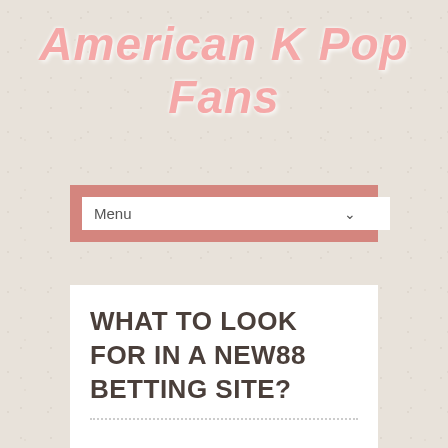American K Pop Fans
Menu
WHAT TO LOOK FOR IN A NEW88 BETTING SITE?